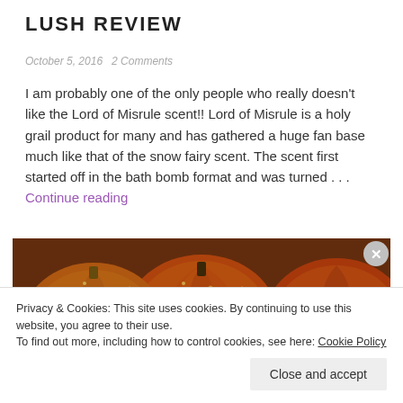LUSH REVIEW
October 5, 2016   2 Comments
I am probably one of the only people who really doesn't like the Lord of Misrule scent!! Lord of Misrule is a holy grail product for many and has gathered a huge fan base much like that of the snow fairy scent. The scent first started off in the bath bomb format and was turned . . . Continue reading
[Figure (photo): Close-up photo of orange and gold glittery bath bombs, resembling pumpkins with ridged surfaces.]
Privacy & Cookies: This site uses cookies. By continuing to use this website, you agree to their use.
To find out more, including how to control cookies, see here: Cookie Policy
Close and accept